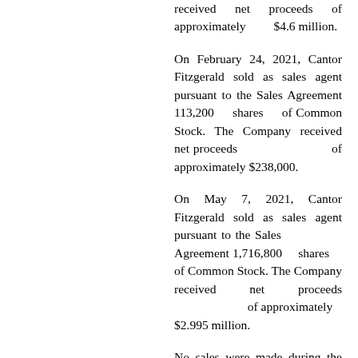received net proceeds of approximately $4.6 million.
On February 24, 2021, Cantor Fitzgerald sold as sales agent pursuant to the Sales Agreement 113,200 shares of Common Stock. The Company received net proceeds of approximately $238,000.
On May 7, 2021, Cantor Fitzgerald sold as sales agent pursuant to the Sales Agreement 1,716,800 shares of Common Stock. The Company received net proceeds of approximately $2.995 million.
No sales were made during the three months ended March 31, 2022.